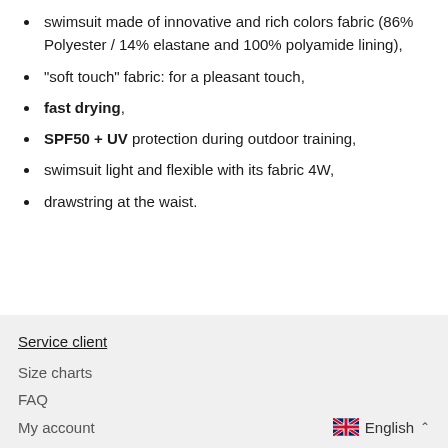swimsuit made of innovative and rich colors fabric (86% Polyester / 14% elastane and 100% polyamide lining),
"soft touch" fabric: for a pleasant touch,
fast drying,
SPF50 + UV protection during outdoor training,
swimsuit light and flexible with its fabric 4W,
drawstring at the waist.
Service client
Size charts
FAQ
My account
English